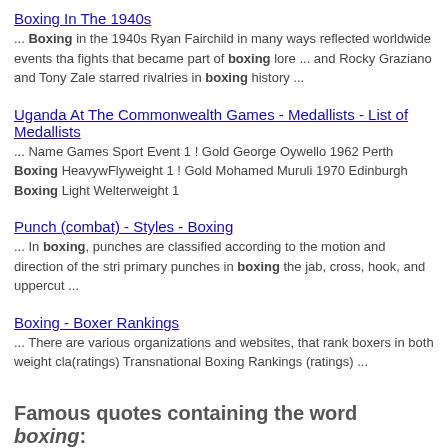Boxing In The 1940s
... Boxing in the 1940s Ryan Fairchild in many ways reflected worldwide events tha fights that became part of boxing lore ... and Rocky Graziano and Tony Zale starred rivalries in boxing history ...
Uganda At The Commonwealth Games - Medallists - List of Medallists
... Name Games Sport Event 1 ! Gold George Oywello 1962 Perth Boxing Heavywe Flyweight 1 ! Gold Mohamed Muruli 1970 Edinburgh Boxing Light Welterweight 1
Punch (combat) - Styles - Boxing
... In boxing, punches are classified according to the motion and direction of the stri primary punches in boxing the jab, cross, hook, and uppercut ...
Boxing - Boxer Rankings
... There are various organizations and websites, that rank boxers in both weight cla (ratings) Transnational Boxing Rankings (ratings) ...
Famous quotes containing the word boxing: